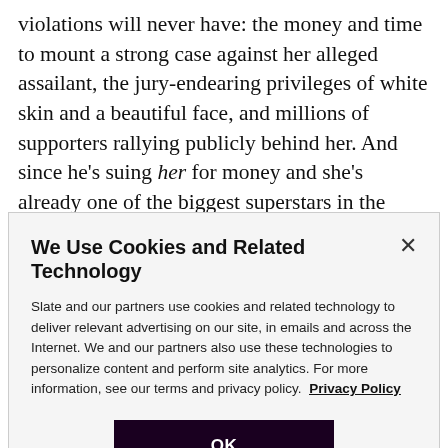violations will never have: the money and time to mount a strong case against her alleged assailant, the jury-endearing privileges of white skin and a beautiful face, and millions of supporters rallying publicly behind her. And since he's suing her for money and she's already one of the biggest superstars in the world, detractors can't argue, as they so often do in sexual-assault cases, that she's making up a story for money or fame.
We Use Cookies and Related Technology
Slate and our partners use cookies and related technology to deliver relevant advertising on our site, in emails and across the Internet. We and our partners also use these technologies to personalize content and perform site analytics. For more information, see our terms and privacy policy. Privacy Policy